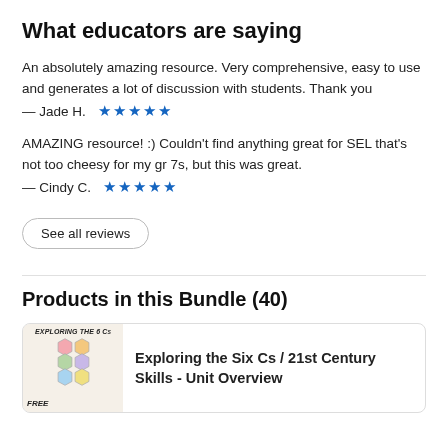What educators are saying
An absolutely amazing resource. Very comprehensive, easy to use and generates a lot of discussion with students. Thank you
— Jade H. ★★★★★
AMAZING resource! :) Couldn't find anything great for SEL that's not too cheesy for my gr 7s, but this was great.
— Cindy C. ★★★★★
See all reviews
Products in this Bundle (40)
Exploring the Six Cs / 21st Century Skills - Unit Overview